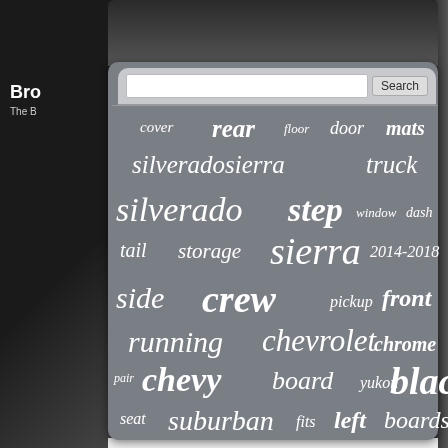[Figure (screenshot): Word cloud / tag cloud on a grey card with search bar, showing automotive-related search terms in varying sizes and weights. Terms include: cover, rear, floor, door, mats, silveradosierra, truck, silverado, step, window, dash, tail, storage, sierra, 2014-2018, side, crew, pickup, front, running, chevrolet, chrome, chevy, board, yukon, black, pair, seat, suburban, fits, left, boards, nerf, rocker, bars]